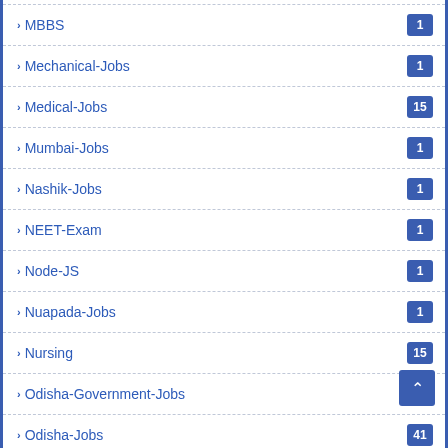MBBS
Mechanical-Jobs
Medical-Jobs
Mumbai-Jobs
Nashik-Jobs
NEET-Exam
Node-JS
Nuapada-Jobs
Nursing
Odisha-Government-Jobs
Odisha-Jobs
Office-Assistant
Online-Adadhr-Card